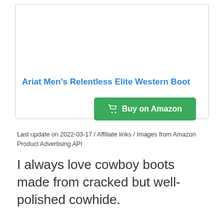Ariat Men's Relentless Elite Western Boot
[Figure (other): Buy on Amazon button with shopping cart icon]
Last update on 2022-03-17 / Affiliate links / Images from Amazon Product Advertising API
I always love cowboy boots made from cracked but well-polished cowhide.